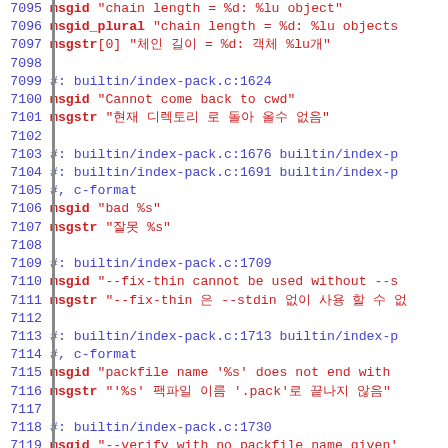Code listing lines 7095–7124, gettext PO file with Korean translations
7095  msgid "chain length = %d: %lu object"
7096  msgid_plural "chain length = %d: %lu objects
7097  msgstr[0] "체인 길이 = %d: 객체 %lu개"
7098
7099  #: builtin/index-pack.c:1624
7100  msgid "Cannot come back to cwd"
7101  msgstr "현재 디렉토리 로 돌아 올수 없음"
7102
7103  #: builtin/index-pack.c:1676 builtin/index-p
7104  #: builtin/index-pack.c:1691 builtin/index-p
7105  #, c-format
7106  msgid "bad %s"
7107  msgstr "잘못 %s"
7108
7109  #: builtin/index-pack.c:1709
7110  msgid "--fix-thin cannot be used without --s
7111  msgstr "--fix-thin 은 --stdin 없이 사용 할 수 없
7112
7113  #: builtin/index-pack.c:1713 builtin/index-p
7114  #, c-format
7115  msgid "packfile name '%s' does not end with
7116  msgstr "'%s' 팩파일 이름 '.pack'로 끝나지 않음"
7117
7118  #: builtin/index-pack.c:1730
7119  msgid "--verify with no packfile name given'
7120  msgstr "--verify 에 팩파일 이름 지정된 것이 없음"
7121
7122  #: builtin/init-db.c:55
7123  #, c-format
7124  msgid "cannot stat '%s'"